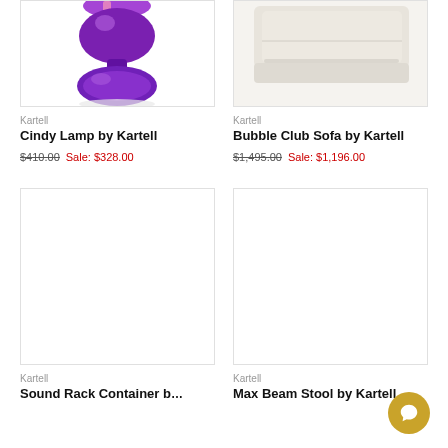[Figure (photo): Purple/violet metallic Cindy Lamp by Kartell, partially cropped at top]
Kartell
Cindy Lamp by Kartell
$410.00  Sale: $328.00
[Figure (photo): White/cream colored Bubble Club Sofa by Kartell, partially cropped at top]
Kartell
Bubble Club Sofa by Kartell
$1,495.00  Sale: $1,196.00
[Figure (photo): Empty white product image placeholder for Sound Rack Container by Kartell]
Kartell
Sound Rack Container b...
[Figure (photo): Empty white product image placeholder for Max Beam Stool by Kartell]
Kartell
Max Beam Stool by Kartell